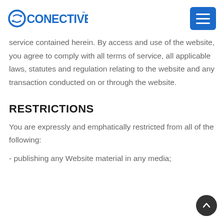CONECTIVEST
service contained herein. By access and use of the website, you agree to comply with all terms of service, all applicable laws, statutes and regulation relating to the website and any transaction conducted on or through the website.
RESTRICTIONS
You are expressly and emphatically restricted from all of the following:
- publishing any Website material in any media;